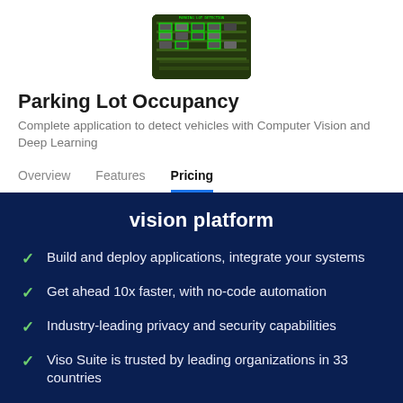[Figure (photo): Aerial view of a parking lot with vehicles detected using computer vision, green bounding boxes overlaid on cars]
Parking Lot Occupancy
Complete application to detect vehicles with Computer Vision and Deep Learning
Overview   Features   Pricing
vision platform
Build and deploy applications, integrate your systems
Get ahead 10x faster, with no-code automation
Industry-leading privacy and security capabilities
Viso Suite is trusted by leading organizations in 33 countries